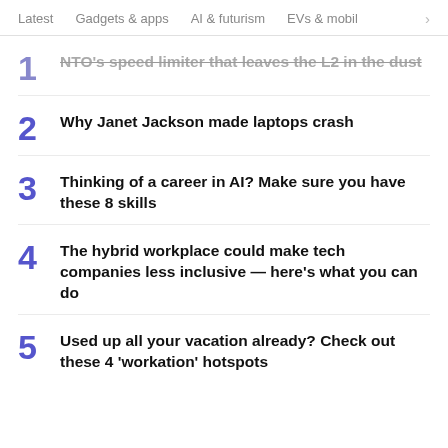Latest  Gadgets & apps  AI & futurism  EVs & mobil  >
1. NTO's speed limiter that leaves the L2 in the dust
2. Why Janet Jackson made laptops crash
3. Thinking of a career in AI? Make sure you have these 8 skills
4. The hybrid workplace could make tech companies less inclusive — here's what you can do
5. Used up all your vacation already? Check out these 4 'workation' hotspots